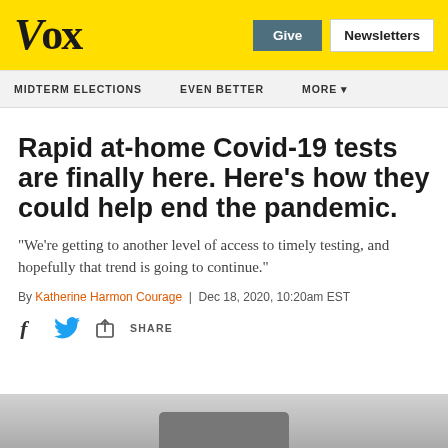Vox | Give | Newsletters
MIDTERM ELECTIONS   EVEN BETTER   MORE
Rapid at-home Covid-19 tests are finally here. Here’s how they could help end the pandemic.
“We’re getting to another level of access to timely testing, and hopefully that trend is going to continue.”
By Katherine Harmon Courage | Dec 18, 2020, 10:20am EST
SHARE (social icons: Facebook, Twitter, Share)
[Figure (photo): Partial view of a Covid-19 rapid at-home test device at the bottom of the page]